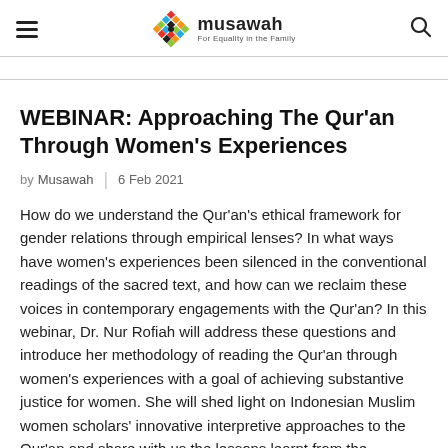musawah – For Equality in the Family
WEBINAR: Approaching The Qur'an Through Women's Experiences
by Musawah  |  6 Feb 2021
How do we understand the Qur'an's ethical framework for gender relations through empirical lenses? In what ways have women's experiences been silenced in the conventional readings of the sacred text, and how can we reclaim these voices in contemporary engagements with the Qur'an? In this webinar, Dr. Nur Rofiah will address these questions and introduce her methodology of reading the Qur'an through women's experiences with a goal of achieving substantive justice for women. She will shed light on Indonesian Muslim women scholars' innovative interpretive approaches to the Qur'an and share with us the lessons learnt from the successful marning of the production of Islamic feminist knowledge